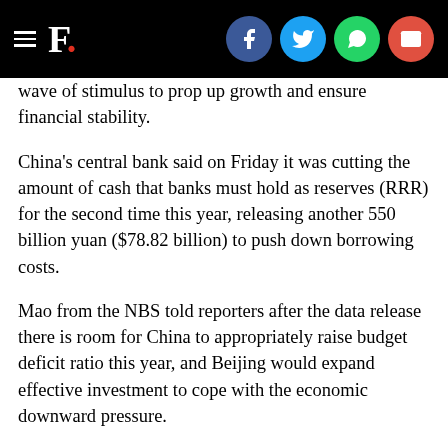F. [social share icons: Facebook, Twitter, WhatsApp, Email]
wave of stimulus to prop up growth and ensure financial stability.
China's central bank said on Friday it was cutting the amount of cash that banks must hold as reserves (RRR) for the second time this year, releasing another 550 billion yuan ($78.82 billion) to push down borrowing costs.
Mao from the NBS told reporters after the data release there is room for China to appropriately raise budget deficit ratio this year, and Beijing would expand effective investment to cope with the economic downward pressure.
China has cut several key interest rates since late January, and some analysts are expecting another reduction in its benchmark lending rate this week.
It has also urged lenders to extend cheap loans to the worst-hit firms and tolerate late payments, though analysts note that